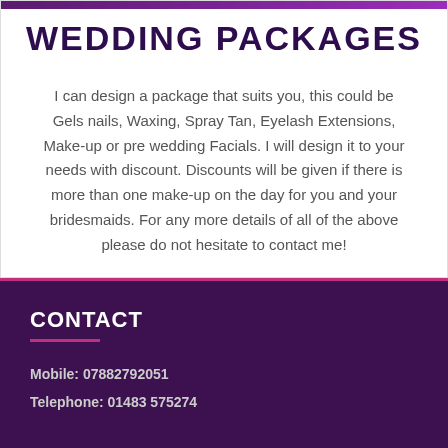WEDDING PACKAGES
I can design a package that suits you, this could be Gels nails, Waxing, Spray Tan, Eyelash Extensions, Make-up or pre wedding Facials. I will design it to your needs with discount. Discounts will be given if there is more than one make-up on the day for you and your bridesmaids. For any more details of all of the above please do not hesitate to contact me!
CONTACT
Mobile: 07882792051
Telephone: 01483 575274